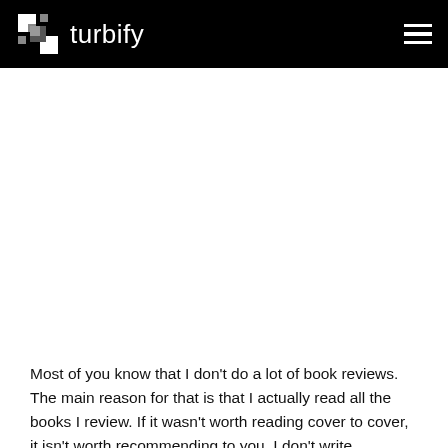turbify
Most of you know that I don't do a lot of book reviews. The main reason for that is that I actually read all the books I review. If it wasn't worth reading cover to cover, it isn't worth recommending to you. I don't write